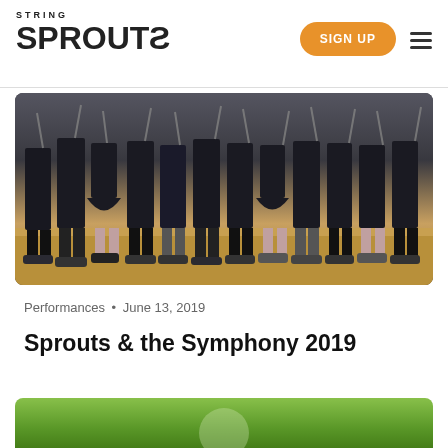STRING SPROUTZ — SIGN UP
[Figure (photo): Children in black concert attire standing on a wooden stage, holding string instruments, viewed from the waist down showing their feet and lower bodies.]
Performances • June 13, 2019
Sprouts & the Symphony 2019
[Figure (photo): Partially visible outdoor photo at the bottom of the page, showing green foliage.]